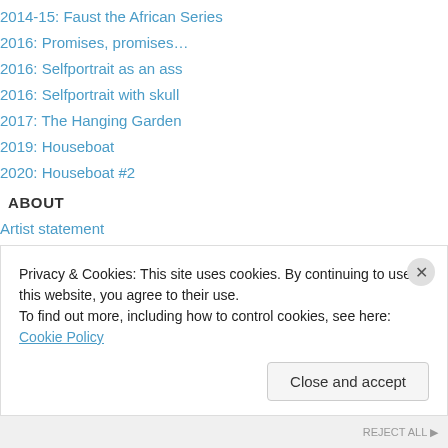2014-15: Faust the African Series
2016: Promises, promises…
2016: Selfportrait as an ass
2016: Selfportrait with skull
2017: The Hanging Garden
2019: Houseboat
2020: Houseboat #2
ABOUT
Artist statement
Press
Shortened CV
Interviews
2003: Interview with Carine Zaayman
2006: Interview with William Boshoff
Privacy & Cookies: This site uses cookies. By continuing to use this website, you agree to their use. To find out more, including how to control cookies, see here: Cookie Policy